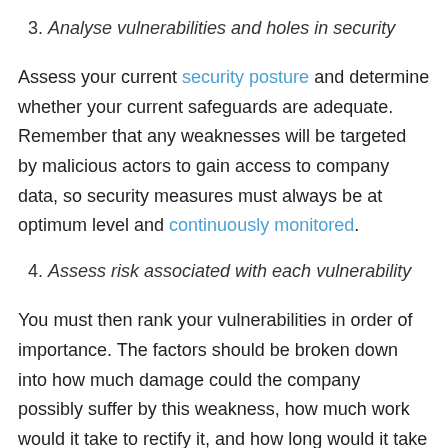3. Analyse vulnerabilities and holes in security
Assess your current security posture and determine whether your current safeguards are adequate. Remember that any weaknesses will be targeted by malicious actors to gain access to company data, so security measures must always be at optimum level and continuously monitored.
4. Assess risk associated with each vulnerability
You must then rank your vulnerabilities in order of importance. The factors should be broken down into how much damage could the company possibly suffer by this weakness, how much work would it take to rectify it, and how long would it take to recover from it